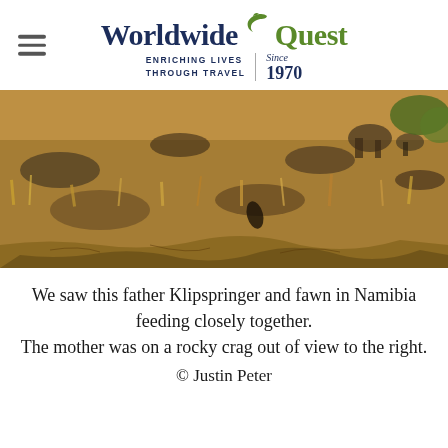WorldwideQuest — ENRICHING LIVES THROUGH TRAVEL | Since 1970
[Figure (photo): A wide panoramic photograph of dry golden grassland with rocks and two Klipspringer antelopes partially visible among the golden dry grass and rocks in Namibia.]
We saw this father Klipspringer and fawn in Namibia feeding closely together. The mother was on a rocky crag out of view to the right. © Justin Peter